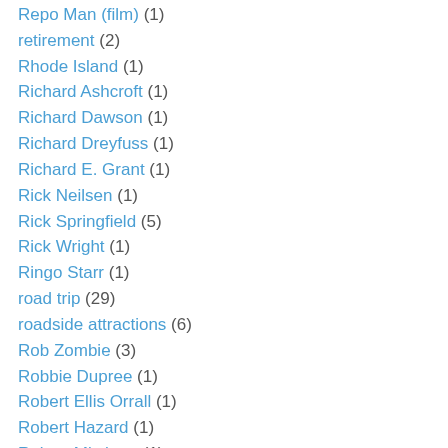Repo Man (film) (1)
retirement (2)
Rhode Island (1)
Richard Ashcroft (1)
Richard Dawson (1)
Richard Dreyfuss (1)
Richard E. Grant (1)
Rick Neilsen (1)
Rick Springfield (5)
Rick Wright (1)
Ringo Starr (1)
road trip (29)
roadside attractions (6)
Rob Zombie (3)
Robbie Dupree (1)
Robert Ellis Orrall (1)
Robert Hazard (1)
Robert Mitchum (1)
Robert Palmer (1)
Robert Plant (3)